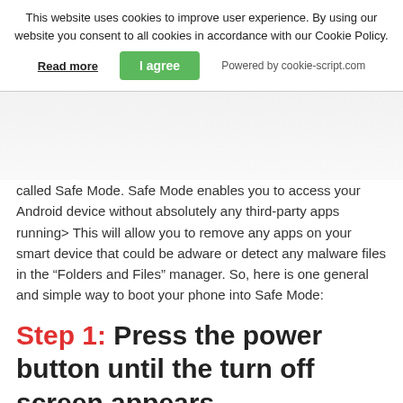This website uses cookies to improve user experience. By using our website you consent to all cookies in accordance with our Cookie Policy. Read more  I agree  Powered by cookie-script.com
called Safe Mode. Safe Mode enables you to access your Android device without absolutely any third-party apps running> This will allow you to remove any apps on your smart device that could be adware or detect any malware files in the “Folders and Files” manager. So, here is one general and simple way to boot your phone into Safe Mode:
Step 1: Press the power button until the turn off screen appears